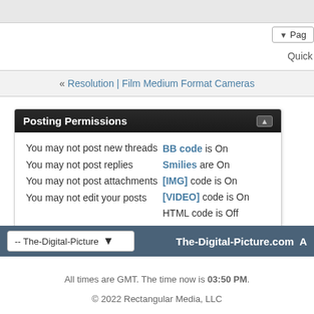▼ Page
Quick
« Resolution | Film Medium Format Cameras
Posting Permissions
You may not post new threads
You may not post replies
You may not post attachments
You may not edit your posts
BB code is On
Smilies are On
[IMG] code is On
[VIDEO] code is On
HTML code is Off
Forum Rules
-- The-Digital-Picture   The-Digital-Picture.com A
All times are GMT. The time now is 03:50 PM.
© 2022 Rectangular Media, LLC